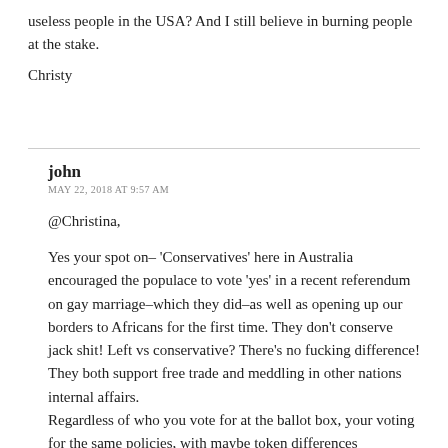useless people in the USA? And I still believe in burning people at the stake.
Christy
john
MAY 22, 2018 AT 9:57 AM
@Christina,
Yes your spot on– 'Conservatives' here in Australia encouraged the populace to vote 'yes' in a recent referendum on gay marriage–which they did–as well as opening up our borders to Africans for the first time. They don't conserve jack shit! Left vs conservative? There's no fucking difference! They both support free trade and meddling in other nations internal affairs. Regardless of who you vote for at the ballot box, your voting for the same policies, with maybe token differences